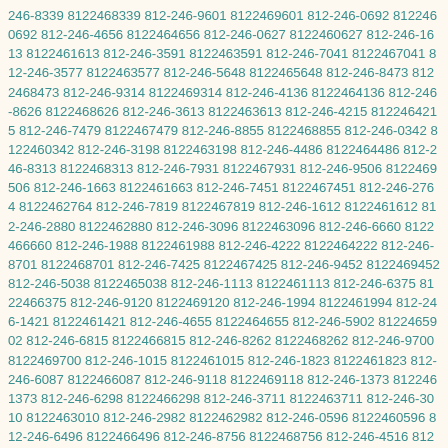246-8339 8122468339 812-246-9601 8122469601 812-246-0692 8122460692 812-246-4656 8122464656 812-246-0627 8122460627 812-246-1613 8122461613 812-246-3591 8122463591 812-246-7041 8122467041 812-246-3577 8122463577 812-246-5648 8122465648 812-246-8473 8122468473 812-246-9314 8122469314 812-246-4136 8122464136 812-246-8626 8122468626 812-246-3613 8122463613 812-246-4215 8122464215 812-246-7479 8122467479 812-246-8855 8122468855 812-246-0342 8122460342 812-246-3198 8122463198 812-246-4486 8122464486 812-246-8313 8122468313 812-246-7931 8122467931 812-246-9506 8122469506 812-246-1663 8122461663 812-246-7451 8122467451 812-246-2764 8122462764 812-246-7819 8122467819 812-246-1612 8122461612 812-246-2880 8122462880 812-246-3096 8122463096 812-246-6660 8122466660 812-246-1988 8122461988 812-246-4222 8122464222 812-246-8701 8122468701 812-246-7425 8122467425 812-246-9452 8122469452 812-246-5038 8122465038 812-246-1113 8122461113 812-246-6375 8122466375 812-246-9120 8122469120 812-246-1994 8122461994 812-246-1421 8122461421 812-246-4655 8122464655 812-246-5902 8122465902 812-246-6815 8122466815 812-246-8262 8122468262 812-246-9700 8122469700 812-246-1015 8122461015 812-246-1823 8122461823 812-246-6087 8122466087 812-246-9118 8122469118 812-246-1373 8122461373 812-246-6298 8122466298 812-246-3711 8122463711 812-246-3010 8122463010 812-246-2982 8122462982 812-246-0596 8122460596 812-246-6496 8122466496 812-246-8756 8122468756 812-246-4516 8122464516 812-246-7710 8122467710 812-246-8133 8122468133 812-246-4365 8122464365 812-246-1625 8122461625 812-